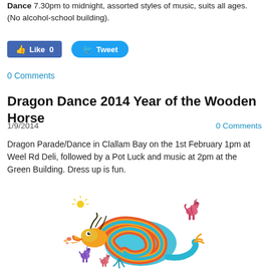Dance 7.30pm to midnight, assorted styles of music, suits all ages. (No alcohol-school building).
[Figure (screenshot): Social media buttons: Facebook Like (0) and Twitter Tweet]
0 Comments
Dragon Dance 2014 Year of the Wooden Horse
1/9/2014
0 Comments
Dragon Parade/Dance in Clallam Bay on the 1st February 1pm at Weel Rd Deli, followed by a Pot Luck and music at 2pm at the Green Building. Dress up is fun.
[Figure (illustration): Colorful illustration of a Chinese dragon surrounded by three stylized horses, representing the Year of the Wooden Horse 2014]